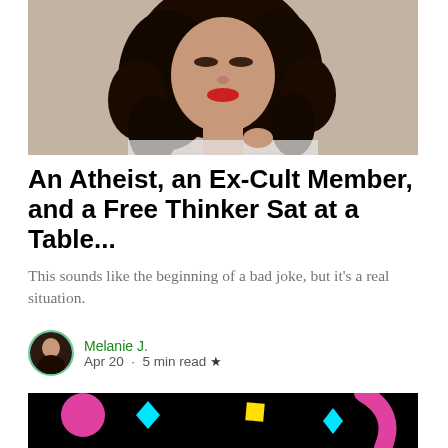[Figure (photo): Young woman with curly dark hair and red lipstick, head tilted, against light wall]
An Atheist, an Ex-Cult Member, and a Free Thinker Sat at a Table...
This sounds like the beginning of a bad joke, but it's a real situation.
Melanie J.
Apr 20 · 5 min read ★
[Figure (photo): Black background with colorful confetti shapes and teal cursive text reading 'Say it' and partial text below]